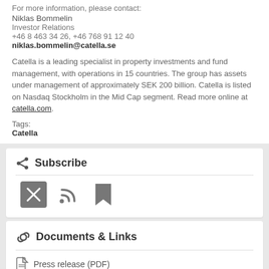For more information, please contact:
Niklas Bommelin
Investor Relations
+46 8 463 34 26, +46 768 91 12 40
niklas.bommelin@catella.se
Catella is a leading specialist in property investments and fund management, with operations in 15 countries. The group has assets under management of approximately SEK 200 billion. Catella is listed on Nasdaq Stockholm in the Mid Cap segment. Read more online at catella.com.
Tags:
Catella
Subscribe
[Figure (infographic): Subscribe icons: email (X envelope), RSS feed, and bookmark/save icons]
Documents & Links
Press release (PDF)
©Cision  Privacy statement  Cookies  About  Content Policy  Contact